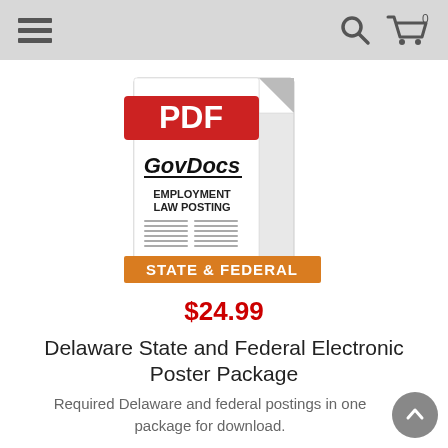Navigation header with hamburger menu, search icon, and cart icon with 0 items
[Figure (illustration): PDF product image showing a GovDocs Employment Law Posting document with a red PDF banner, white document curl, 'GovDocs' branding, 'EMPLOYMENT LAW POSTING' text, and an orange 'STATE & FEDERAL' banner at the bottom]
$24.99
Delaware State and Federal Electronic Poster Package
Required Delaware and federal postings in one package for download.